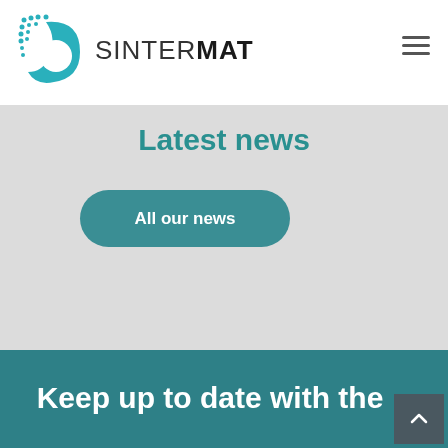[Figure (logo): Sintermat logo with teal wave/dots graphic and SINTERMAT text]
Latest news
All our news
Keep up to date with the